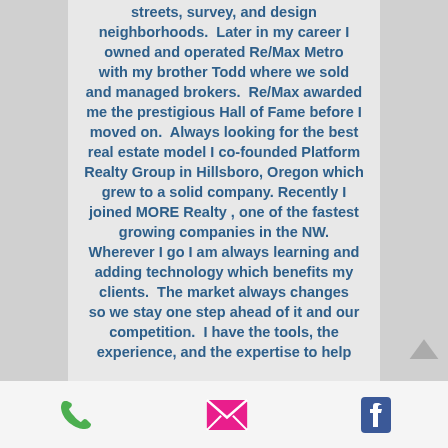streets, survey, and design neighborhoods.  Later in my career I owned and operated Re/Max Metro with my brother Todd where we sold and managed brokers.  Re/Max awarded me the prestigious Hall of Fame before I moved on.  Always looking for the best real estate model I co-founded Platform Realty Group in Hillsboro, Oregon which grew to a solid company. Recently I joined MORE Realty , one of the fastest growing companies in the NW.  Wherever I go I am always learning and adding technology which benefits my clients.  The market always changes so we stay one step ahead of it and our competition.  I have the tools, the experience, and the expertise to help
[Figure (infographic): Footer bar with phone icon (green), email icon (pink/red envelope), and Facebook icon (blue)]